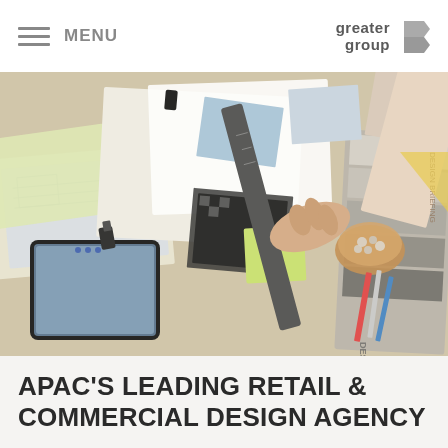MENU | greater group
[Figure (photo): Overhead view of a design workspace with architectural blueprints, material swatches, color samples, sticky notes, a tablet, a ruler held by a hand, pencils, and a wooden bowl of stones on a desk.]
APAC'S LEADING RETAIL & COMMERCIAL DESIGN AGENCY